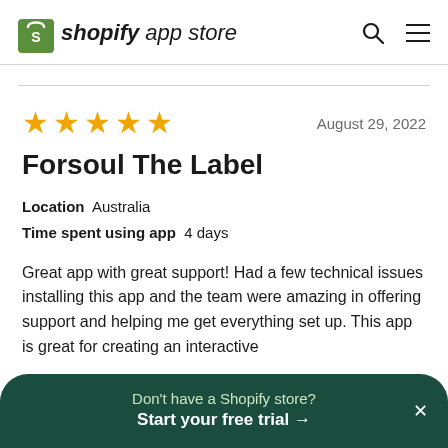shopify app store
August 29, 2022
Forsoul The Label
Location  Australia
Time spent using app  4 days
Great app with great support! Had a few technical issues installing this app and the team were amazing in offering support and helping me get everything set up. This app is great for creating an interactive
Don't have a Shopify store?
Start your free trial →